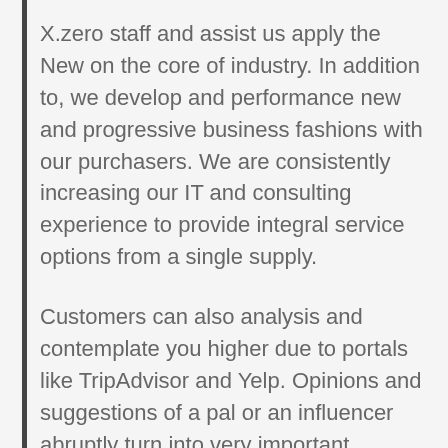X.zero staff and assist us apply the New on the core of industry. In addition to, we develop and performance new and progressive business fashions with our purchasers. We are consistently increasing our IT and consulting experience to provide integral service options from a single supply.
Customers can also analysis and contemplate you higher due to portals like TripAdvisor and Yelp. Opinions and suggestions of a pal or an influencer abruptly turn into very important determinants for progress in sales. Together with offering secure income transfer, repeat purchasers can turn into influencers in their very personal proper.
Human beings altered one of the highest peaks within the Himalayas a whole lot of years earlier than an